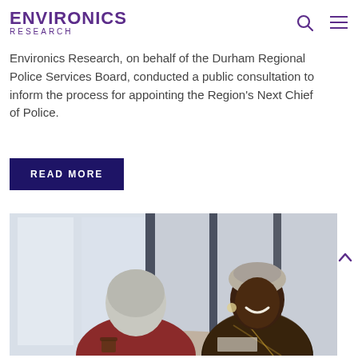ENVIRONICS RESEARCH
Environics Research, on behalf of the Durham Regional Police Services Board, conducted a public consultation to inform the process for appointing the Region's Next Chief of Police.
READ MORE
[Figure (photo): Two people having a conversation across a table in a bright modern office setting. One person with short grey/white hair is seen from behind wearing a dark red top; the other is a smiling Black woman wearing a patterned blouse and a wrapped headscarf.]